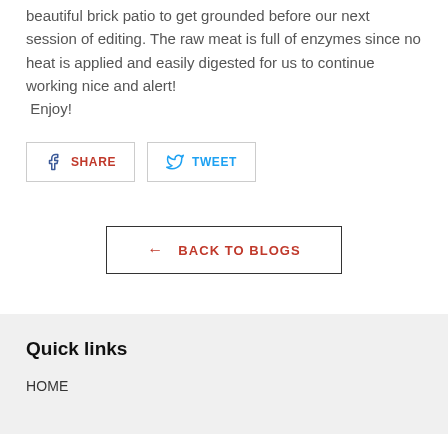beautiful brick patio to get grounded before our next session of editing. The raw meat is full of enzymes since no heat is applied and easily digested for us to continue working nice and alert!  Enjoy!
[Figure (other): Social sharing buttons: Facebook SHARE button and Twitter TWEET button]
[Figure (other): BACK TO BLOGS navigation button with left arrow]
Quick links
HOME